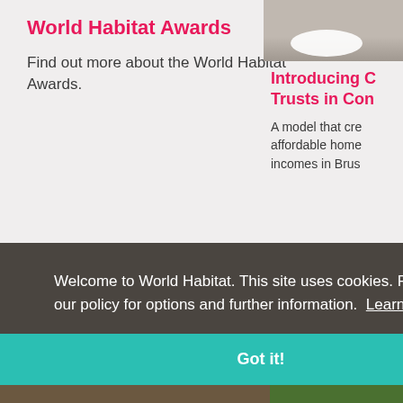World Habitat Awards
Find out more about the World Habitat Awards.
[Figure (photo): Photo of feet with white sneakers on pavement, top-right corner]
Introducing C Trusts in Con
A model that cre affordable home incomes in Brus
Welcome to World Habitat. This site uses cookies. Please see our policy for options and further information. Learn more
Got it!
[Figure (photo): Bottom strip showing plants/foliage on right and people gathering on left]